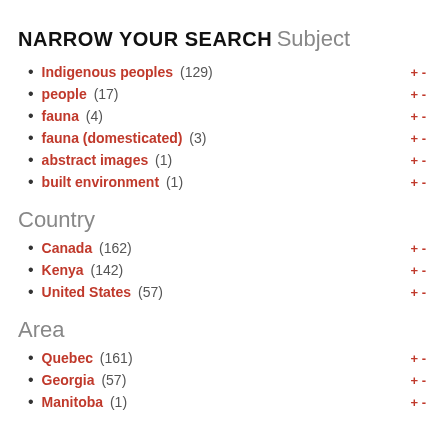NARROW YOUR SEARCH
Subject
Indigenous peoples (129) + -
people (17) + -
fauna (4) + -
fauna (domesticated) (3) + -
abstract images (1) + -
built environment (1) + -
Country
Canada (162) + -
Kenya (142) + -
United States (57) + -
Area
Quebec (161) + -
Georgia (57) + -
Manitoba (1) + -